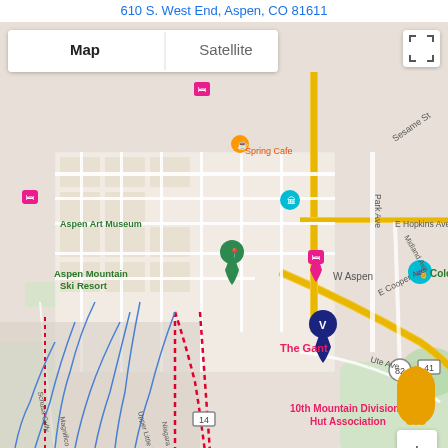610 S. West End, Aspen, CO 81611
[Figure (map): Google Maps screenshot showing the area around The Gant hotel in Aspen, Colorado. Map shows Aspen Art Museum, Aspen Mountain Ski Resort, Herron Park, W Aspen hotel, 10th Mountain Division Hut Association, E Cooper Ave, E Hopkins Ave, Park Ave, Ute Ave, Spring Cafe, with ski trails marked by dotted red lines and blue trail lines on the mountain. A blue location pin with a V logo marks The Gant. Map/Satellite toggle and zoom controls visible.]